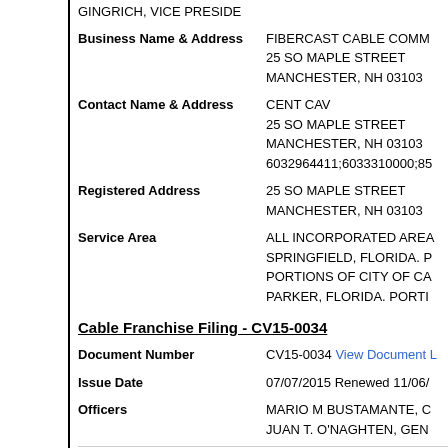GINGRICH, VICE PRESIDENT
Business Name & Address
FIBERCAST CABLE COMMUNICATIONS
25 SO MAPLE STREET
MANCHESTER, NH 03103
Contact Name & Address
CENT CAV
25 SO MAPLE STREET
MANCHESTER, NH 03103
6032964411;6033310000;85
Registered Address
25 SO MAPLE STREET
MANCHESTER, NH 03103
Service Area
ALL INCORPORATED AREA SPRINGFIELD, FLORIDA. PORTIONS OF CITY OF CA PARKER, FLORIDA. PORTI
Cable Franchise Filing - CV15-0034
Document Number
CV15-0034 View Document L
Issue Date
07/07/2015 Renewed 11/06/
Officers
MARIO M BUSTAMANTE, O
JUAN T. O'NAGHTEN, GEN
Business Name & Address